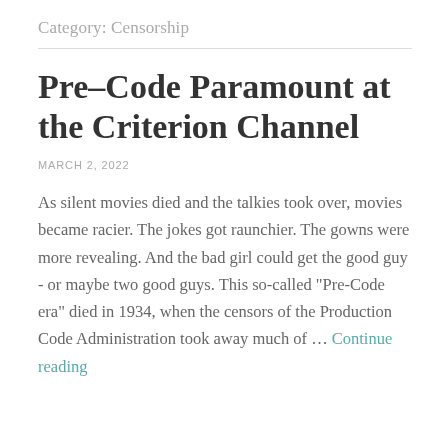Category: Censorship
Pre-Code Paramount at the Criterion Channel
MARCH 2, 2022
As silent movies died and the talkies took over, movies became racier. The jokes got raunchier. The gowns were more revealing. And the bad girl could get the good guy - or maybe two good guys. This so-called "Pre-Code era" died in 1934, when the censors of the Production Code Administration took away much of … Continue reading